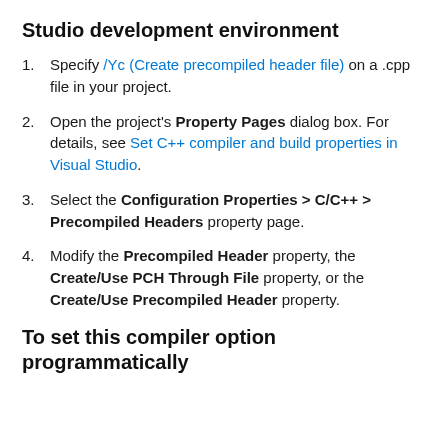Studio development environment
Specify /Yc (Create precompiled header file) on a .cpp file in your project.
Open the project's Property Pages dialog box. For details, see Set C++ compiler and build properties in Visual Studio.
Select the Configuration Properties > C/C++ > Precompiled Headers property page.
Modify the Precompiled Header property, the Create/Use PCH Through File property, or the Create/Use Precompiled Header property.
To set this compiler option programmatically